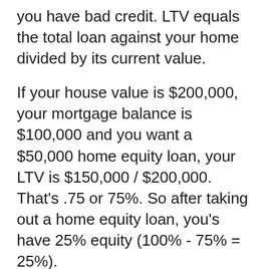you have bad credit. LTV equals the total loan against your home divided by its current value.
If your house value is $200,000, your mortgage balance is $100,000 and you want a $50,000 home equity loan, your LTV is $150,000 / $200,000. That's .75 or 75%. So after taking out a home equity loan, you's have 25% equity (100% - 75% = 25%).
The lower your credit scores, the more equity you'll need to get approved for a home equity loan with bad credit.
“Maintaining at least 20% equity in your house is also critical in case the real estate market